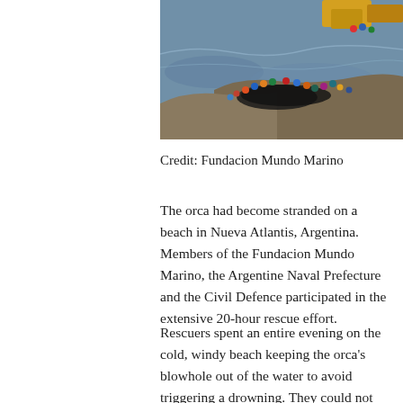[Figure (photo): Aerial/overhead view of people on a rocky shoreline in the water, with an orca stranded on the beach. People in colorful jackets are gathered around the whale at the water's edge. Heavy machinery (yellow) is visible at the top. Waves and dark water surround the scene.]
Credit: Fundacion Mundo Marino
The orca had become stranded on a beach in Nueva Atlantis, Argentina. Members of the Fundacion Mundo Marino, the Argentine Naval Prefecture and the Civil Defence participated in the extensive 20-hour rescue effort.
Rescuers spent an entire evening on the cold, windy beach keeping the orca's blowhole out of the water to avoid triggering a drowning. They could not lift the orca back into the